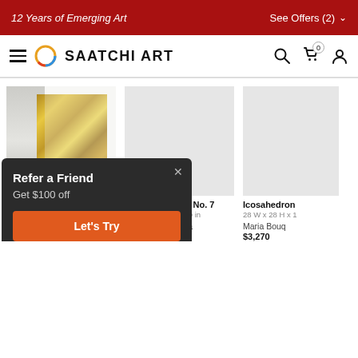12 Years of Emerging Art | See Offers (2)
SAATCHI ART
[Figure (photo): Gold textured artwork photograph displayed in a gallery room setting]
No.17 Sun Gold lig...
24 W x 24 H x 2.3 D in
NG
$
[Figure (photo): Placeholder grey image for Nailed it! Series No. 7]
Nailed it! Series No. 7
24 W x 24 H x 2.3 D in
Sumit Mehndiratta
$460
[Figure (photo): Placeholder grey image for Icosahedron]
Icosahedron
28 W x 28 H x 1
Maria Bouq
$3,270
Refer a Friend
Get $100 off
Let's Try